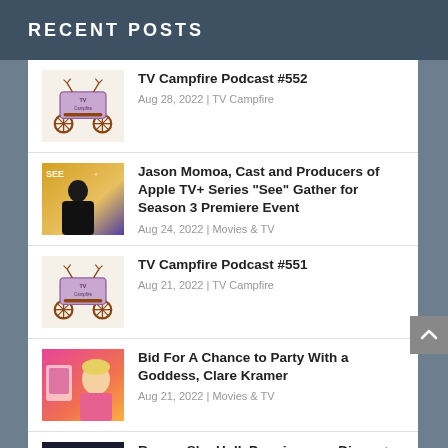RECENT POSTS
TV Campfire Podcast #552
Aug 28, 2022 | TV Campfire
Jason Momoa, Cast and Producers of Apple TV+ Series “See” Gather for Season 3 Premiere Event
Aug 24, 2022 | Movies & TV
TV Campfire Podcast #551
Aug 21, 2022 | TV Campfire
Bid For A Chance to Party With a Goddess, Clare Kramer
Aug 21, 2022 | Movies & TV
Recap: She-Hulk Premieres on Disney+
Aug 19, 2022 | Movies & TV